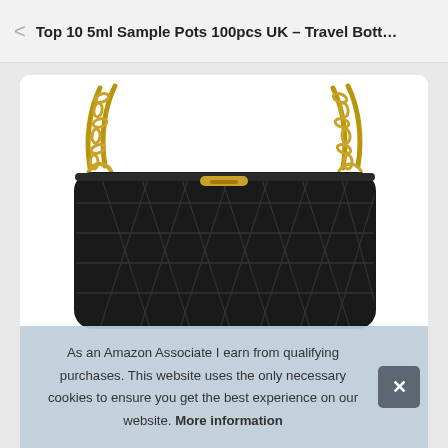Top 10 5ml Sample Pots 100pcs UK – Travel Bott…
[Figure (photo): Black quilted leather handbag with gold chain straps, photographed against a white background inside a rounded white card panel.]
As an Amazon Associate I earn from qualifying purchases. This website uses the only necessary cookies to ensure you get the best experience on our website. More information